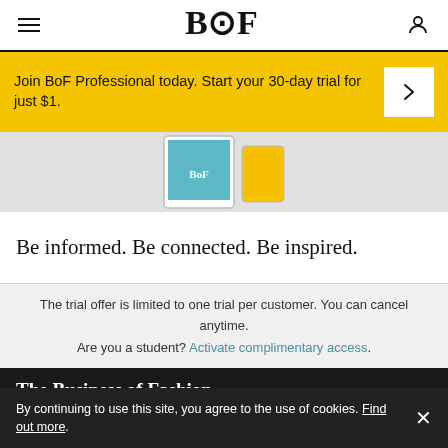BoF
Join BoF Professional today. Start your 30-day trial for just $1.
[Figure (screenshot): Partial image of BoF magazine/app on device screens]
Be informed. Be connected. Be inspired.
The trial offer is limited to one trial per customer. You can cancel anytime. Are you a student? Activate complimentary access.
The Business of Fashion
Agenda-setting intelligence, analysis and advice for the
By continuing to use this site, you agree to the use of cookies. Find out more.